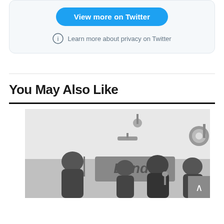[Figure (screenshot): Twitter embed widget with a blue 'View more on Twitter' button and privacy info link, on a light grey background with rounded border]
Learn more about privacy on Twitter
You May Also Like
[Figure (photo): Black and white photo of a band performing on stage. Multiple band members visible, one singing into a microphone, others playing instruments. A banner in the background reads 'Bands'. Stage lighting equipment visible on the right.]